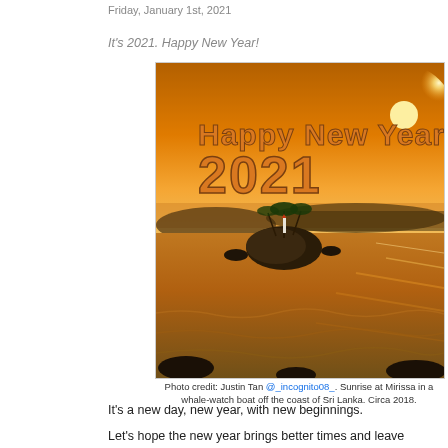Friday, January 1st, 2021
It's 2021. Happy New Year!
[Figure (photo): Sunset/sunrise photo over the ocean with a small rocky island with palm trees in the center, golden orange sky, sun visible on the right, text overlay reading 'Happy New Year 2021' in orange block letters.]
Photo credit: Justin Tan @_incognito08_. Sunrise at Mirissa in a whale-watch boat off the coast of Sri Lanka. Circa 2018.
It's a new day, new year, with new beginnings.
Let's hope the new year brings better times and leave behind the ravage...